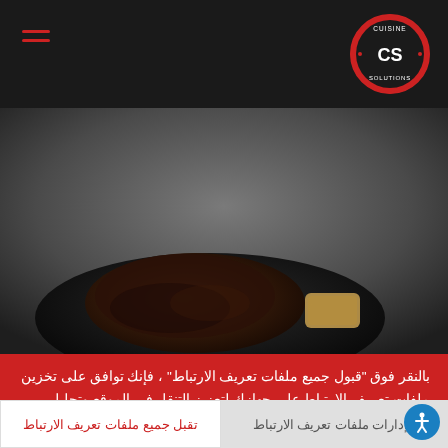[Figure (logo): Cuisine Solutions circular logo with red border and white CS monogram on black background]
[Figure (photo): Dark plated food dish on a dark plate against a dark grey background, with what appears to be grilled meat and a piece of bread]
بالنقر فوق "قبول جميع ملفات تعريف الارتباط" ، فإنك توافق على تخزين ملفات تعريف الارتباط على جهازك لتعزيز التنقل في الموقع وتحليل استخدام الموقع والمساعدة في جهودنا التسويقية.
إدارات ملفات تعريف الارتباط
تقبل جميع ملفات تعريف الارتباط